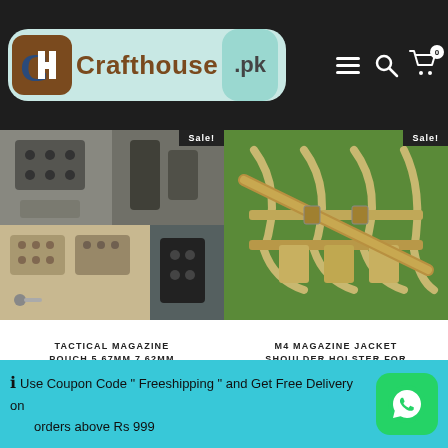Crafthouse .pk — website header with logo, navigation icons (hamburger, search, cart with 0 items)
[Figure (screenshot): Website screenshot of Crafthouse.pk showing product listings page with two products: Tactical Magazine Pouch 5.67mm 7.62mm Pistol Mag Military, and M4 Magazine Jacket Shoulder Holster for M4 Mags. Both items show Sale! badge. Bottom notification bar: Use Coupon Code Freeshipping and Get Free Delivery on orders above Rs 999.]
TACTICAL MAGAZINE POUCH 5.67MM 7.62MM PISTOL MAG MILITARY
M4 MAGAZINE JACKET SHOULDER HOLSTER FOR M4 MAGS
Use Coupon Code " Freeshipping " and Get Free Delivery on orders above Rs 999